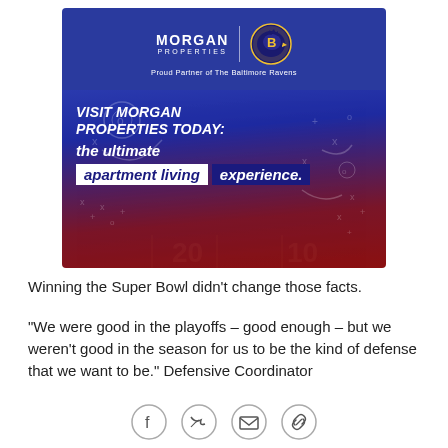[Figure (illustration): Morgan Properties advertisement with Baltimore Ravens partnership branding. Blue and red gradient background with football playbook lines. Text reads: MORGAN PROPERTIES | Proud Partner of The Baltimore Ravens | VISIT MORGAN PROPERTIES TODAY: the ultimate apartment living experience.]
Winning the Super Bowl didn't change those facts.
"We were good in the playoffs – good enough – but we weren't good in the season for us to be the kind of defense that we want to be." Defensive Coordinator